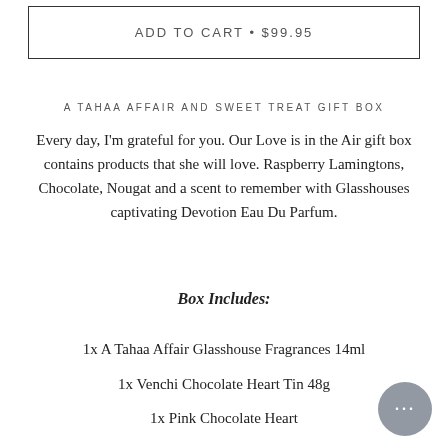ADD TO CART • $99.95
A TAHAA AFFAIR AND SWEET TREAT GIFT BOX
Every day, I'm grateful for you. Our Love is in the Air gift box contains products that she will love. Raspberry Lamingtons, Chocolate, Nougat and a scent to remember with Glasshouses captivating Devotion Eau Du Parfum.
Box Includes:
1x A Tahaa Affair Glasshouse Fragrances 14ml
1x Venchi Chocolate Heart Tin 48g
1x Pink Chocolate Heart
1x Donovans Raspberry Lamington Clusters 150g